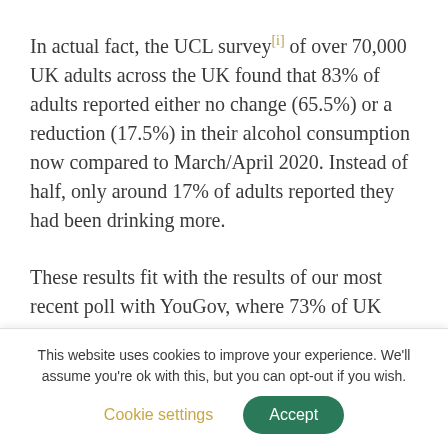In actual fact, the UCL survey[i] of over 70,000 UK adults across the UK found that 83% of adults reported either no change (65.5%) or a reduction (17.5%) in their alcohol consumption now compared to March/April 2020. Instead of half, only around 17% of adults reported they had been drinking more.
These results fit with the results of our most recent poll with YouGov, where 73% of UK drinkers said that they were either drinking the same or less since
This website uses cookies to improve your experience. We'll assume you're ok with this, but you can opt-out if you wish. Cookie settings Accept